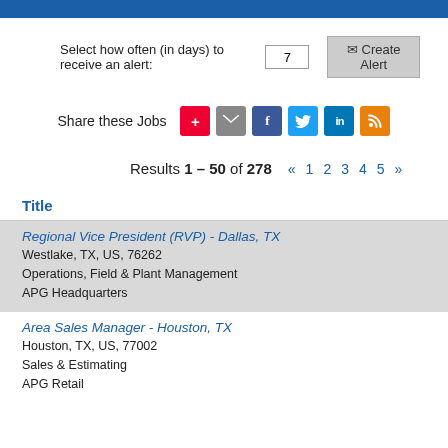Select how often (in days) to receive an alert: 7  Create Alert
Share these Jobs
Results 1 – 50 of 278   « 1 2 3 4 5 »
Title
Regional Vice President (RVP) - Dallas, TX
Westlake, TX, US, 76262
Operations, Field & Plant Management
APG Headquarters
Area Sales Manager - Houston, TX
Houston, TX, US, 77002
Sales & Estimating
APG Retail